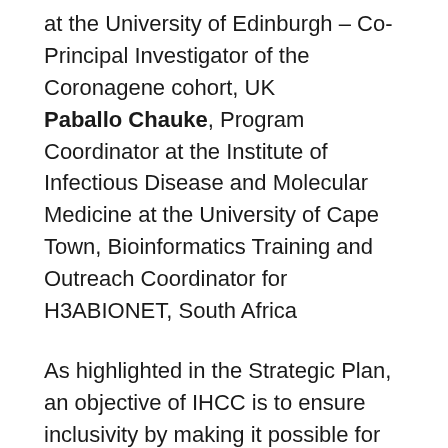at the University of Edinburgh – Co-Principal Investigator of the Coronagene cohort, UK Paballo Chauke, Program Coordinator at the Institute of Infectious Disease and Molecular Medicine at the University of Cape Town, Bioinformatics Training and Outreach Coordinator for H3ABIONET, South Africa
As highlighted in the Strategic Plan, an objective of IHCC is to ensure inclusivity by making it possible for ALL cohorts to contribute. While the current working groups meet this objective in various ways, we felt this initiative could be further embedded in our efforts through the creation of a working group dedicated specifically to the areas of collaboration enhancement, training, education, and knowledge sharing. Through the Training, Champions and Capacity...